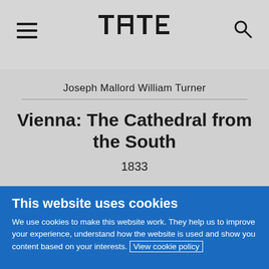Tate website header with hamburger menu, Tate logo, and search icon
Joseph Mallord William Turner
Vienna: The Cathedral from the South
1833
This website uses cookies
We use cookies to make this website work. They help us to improve your experience, understand how the website is used and show you content based on your interests. View cookie policy